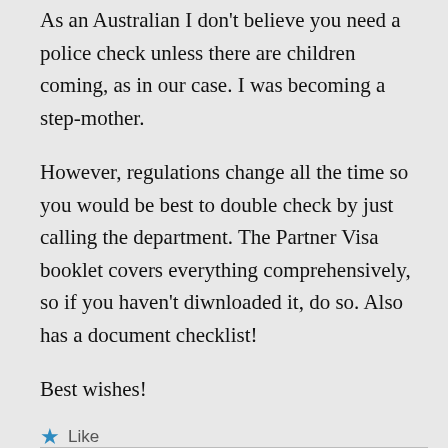As an Australian I don't believe you need a police check unless there are children coming, as in our case. I was becoming a step-mother.
However, regulations change all the time so you would be best to double check by just calling the department. The Partner Visa booklet covers everything comprehensively, so if you haven't diwnloaded it, do so. Also has a document checklist!
Best wishes!
Like
Reply